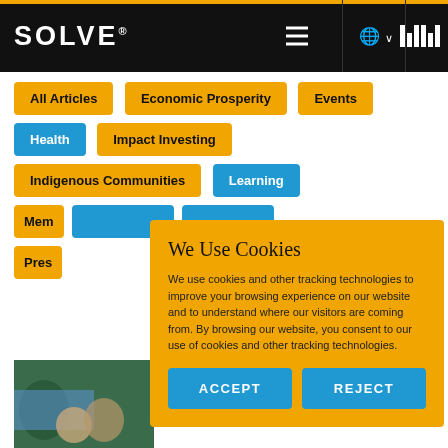SOLVE® — MIT Solve website header with navigation icons
All Articles
Economic Prosperity
Events
Health (active/selected)
Impact Investing
Indigenous Communities
Learning (active/selected)
Mem[bers] (partially visible)
Pres[s] (partially visible)
[Figure (photo): Partial photo showing people with blue tarp/cloth in outdoor setting]
We Use Cookies
We use cookies and other tracking technologies to improve your browsing experience on our website and to understand where our visitors are coming from. By browsing our website, you consent to our use of cookies and other tracking technologies.
ACCEPT
REJECT